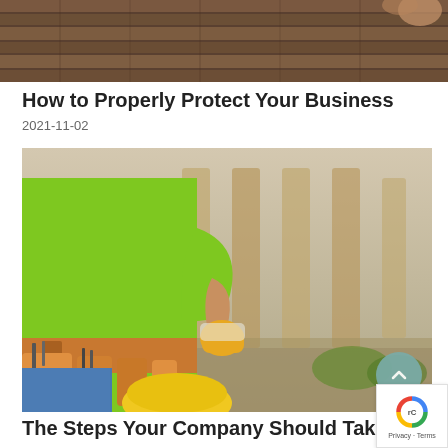[Figure (photo): Top portion of a photo showing wooden roof structure or lumber, partially visible at the top of the page]
How to Properly Protect Your Business
2021-11-02
[Figure (photo): Construction worker wearing a green t-shirt, yellow work gloves, and a tool belt, holding a yellow hard hat, standing in front of a blurred construction site background]
The Steps Your Company Should Take